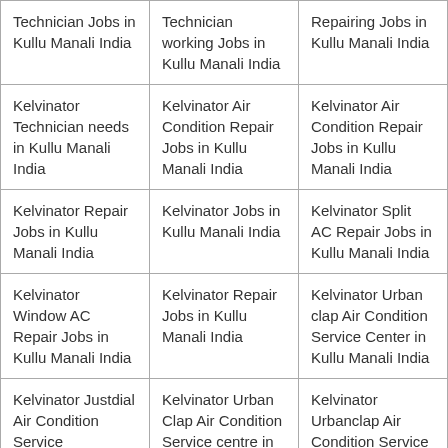| Technician Jobs in Kullu Manali India | Technician working Jobs in Kullu Manali India | Repairing Jobs in Kullu Manali India |
| Kelvinator Technician needs in Kullu Manali India | Kelvinator Air Condition Repair Jobs in Kullu Manali India | Kelvinator Air Condition Repair Jobs in Kullu Manali India |
| Kelvinator Repair Jobs in Kullu Manali India | Kelvinator Jobs in Kullu Manali India | Kelvinator Split AC Repair Jobs in Kullu Manali India |
| Kelvinator Window AC Repair Jobs in Kullu Manali India | Kelvinator Repair Jobs in Kullu Manali India | Kelvinator Urban clap Air Condition Service Center in Kullu Manali India |
| Kelvinator Justdial Air Condition Service | Kelvinator Urban Clap Air Condition Service centre in | Kelvinator Urbanclap Air Condition Service |